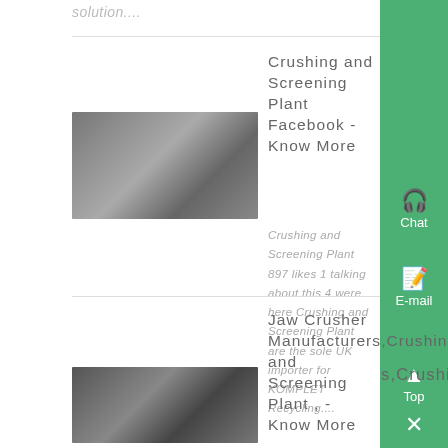solution....
[Figure (photo): Industrial crushing and screening machine in a warehouse]
Crushing and Screening Plant Facebook - Know More
Crushing and Screening Plant 897 likes 1 talking about this 4 were here Crushing and Screening Plant are the sole UK importer for KOMPLET Recycling....
[Figure (photo): Jaw crusher machinery close-up]
Jaw Crusher Manufacturers,Crushing and Screening Plant , - Know More